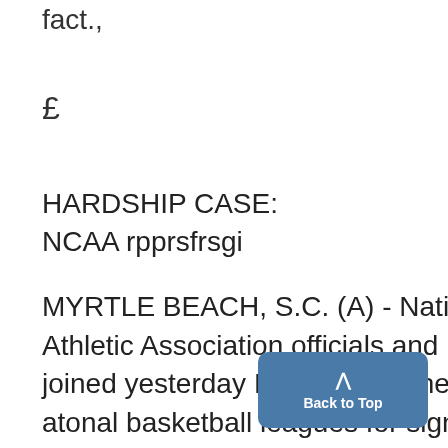fact.,
£
HARDSHIP CASE:
NCAA rpprsfrsgi
MYRTLE BEACH, S.C. (A) - National Collegiate Athletic Association officials and basketball coaches joined yesterday In criticteing the two major profciatonal basketball leagues for signing college players before
Back to Top